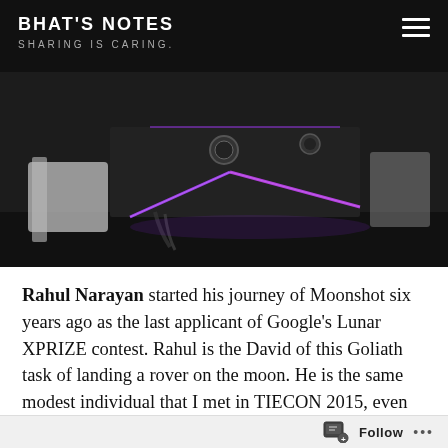BHAT'S NOTES
SHARING IS CARING.
[Figure (photo): Close-up photo of a robotic lunar rover device with purple LED lighting trim, dark metallic body with angular design, visible mechanical components and cables.]
Rahul Narayan started his journey of Moonshot six years ago as the last applicant of Google's Lunar XPRIZE contest. Rahul is the David of this Goliath task of landing a rover on the moon. He is the same modest individual that I met in TIECON 2015, even though now he got millions in funding for his moon mission and has a 140 member team.
[Figure (photo): Partial photo at bottom of page showing a person, cropped — only top of head visible against a warm brown/dim interior background.]
Follow  •••